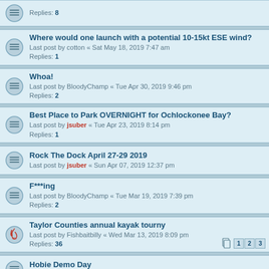Replies: 8
Where would one launch with a potential 10-15kt ESE wind?
Last post by cotton « Sat May 18, 2019 7:47 am
Replies: 1
Whoa!
Last post by BloodyChamp « Tue Apr 30, 2019 9:46 pm
Replies: 2
Best Place to Park OVERNIGHT for Ochlockonee Bay?
Last post by jsuber « Tue Apr 23, 2019 8:14 pm
Replies: 1
Rock The Dock April 27-29 2019
Last post by jsuber « Sun Apr 07, 2019 12:37 pm
F***ing
Last post by BloodyChamp « Tue Mar 19, 2019 7:39 pm
Replies: 2
Taylor Counties annual kayak tourny
Last post by Fishbaitbilly « Wed Mar 13, 2019 8:09 pm
Replies: 36
Pages: 1 2 3
Hobie Demo Day
Last post by jsuber « Tue Feb 26, 2019 10:00 am
FOUND STAKE OUT POLE WAKULLA BEACH
Last post by Yak-a-Tak « Sat Feb 23, 2019 9:47 am
FWC trout update (South of here way south)
Last post by jsuber « Wed Feb 20, 2019 12:24 pm
ICE information attached to your kayak